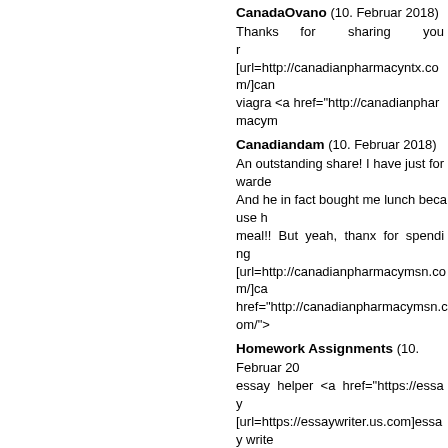CanadaOvano (10. Februar 2018)
Thanks for sharing your [url=http://canadianpharmacyntx.com/]can viagra <a href="http://canadianpharmacym
Canadiandam (10. Februar 2018)
An outstanding share! I have just forwarde And he in fact bought me lunch because meal!! But yeah, thanx for spending [url=http://canadianpharmacymsn.com/]ca href="http://canadianpharmacymsn.com/">
Homework Assignments (10. Februar 20 essay helper <a href="https://essay [url=https://essaywriter.us.com]essay write
CanadaOvano (10. Februar 2018)
Hello would you mind letting me know whi browsers and I must say this blog loads provider at a fair price? Cheers, I apprecia canadian pharmacy no prescription pharmacies</a>
Canadiandam (10. Februar 2018)
Hey there! Someone in my Facebook g definitely enjoying the information. I'm boo wonderful style and design. [url=http://ca drugs online <a href="http://canadianpharm
CanadaOvano (10. Februar 2018)
Very energetic blog, I loved that bit. W canadian pharmacies[/url]